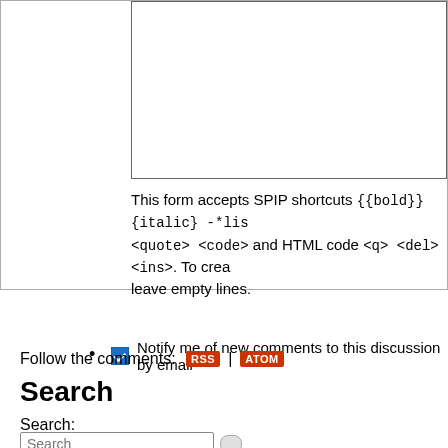This form accepts SPIP shortcuts {{bold}} {italic} -*lis <quote> <code> and HTML code <q> <del> <ins>. To crea leave empty lines.
Notify me of new comments to this discussion by email
Preview
Follow the comments: RSS | ATOM
Search
Search:
Geographical research